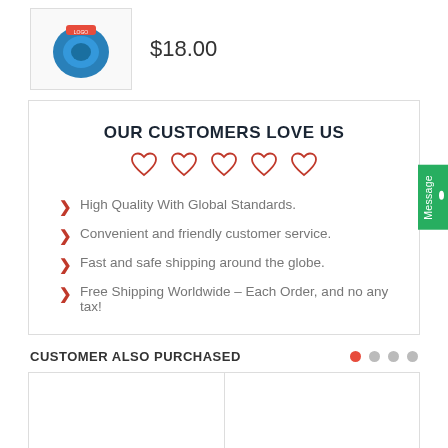[Figure (photo): Product image thumbnail showing a blue yarn/ball item with logo]
$18.00
OUR CUSTOMERS LOVE US
[Figure (illustration): Five red heart outlines in a row]
High Quality With Global Standards.
Convenient and friendly customer service.
Fast and safe shipping around the globe.
Free Shipping Worldwide - Each Order, and no any tax!
CUSTOMER ALSO PURCHASED
[Figure (photo): Empty product card placeholder left]
[Figure (photo): Empty product card placeholder right]